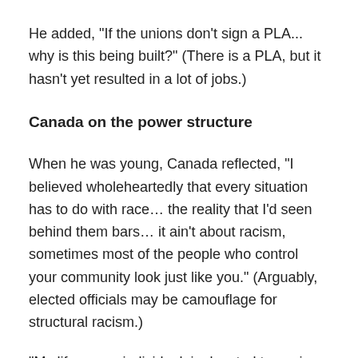He added, "If the unions don't sign a PLA... why is this being built?" (There is a PLA, but it hasn't yet resulted in a lot of jobs.)
Canada on the power structure
When he was young, Canada reflected, "I believed wholeheartedly that every situation has to do with race… the reality that I'd seen behind them bars… it ain't about racism, sometimes most of the people who control your community look just like you." (Arguably, elected officials may be camouflage for structural racism.)
"My life, as an individual, is devoted to paying back for all the wrongs that I ever did," Canada declared said. "I have a saying: 'What do we come into the world to do?' If we didn't come into